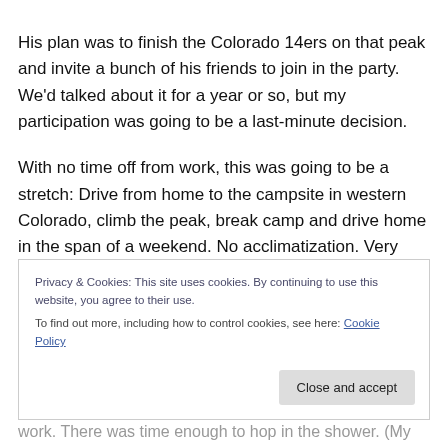His plan was to finish the Colorado 14ers on that peak and invite a bunch of his friends to join in the party. We'd talked about it for a year or so, but my participation was going to be a last-minute decision.
With no time off from work, this was going to be a stretch: Drive from home to the campsite in western Colorado, climb the peak, break camp and drive home in the span of a weekend. No acclimatization. Very little sleep. And a complete lack of common sense. Here's how it went
Privacy & Cookies: This site uses cookies. By continuing to use this website, you agree to their use.
To find out more, including how to control cookies, see here: Cookie Policy
Close and accept
work. There was time enough to hop in the shower. (My